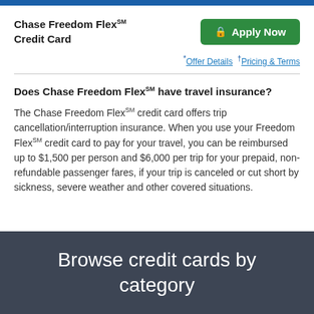Chase Freedom Flex℠ Credit Card
* Offer Details † Pricing & Terms
Does Chase Freedom Flex℠ have travel insurance?
The Chase Freedom Flex℠ credit card offers trip cancellation/interruption insurance. When you use your Freedom Flex℠ credit card to pay for your travel, you can be reimbursed up to $1,500 per person and $6,000 per trip for your prepaid, non-refundable passenger fares, if your trip is canceled or cut short by sickness, severe weather and other covered situations.
Browse credit cards by category